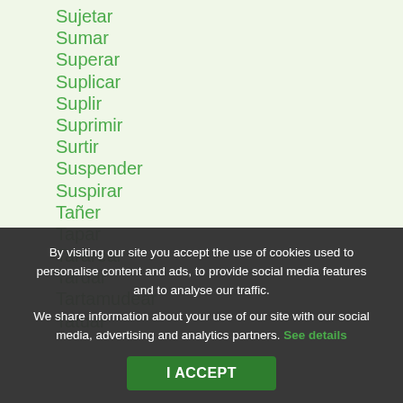Sujetar
Sumar
Superar
Suplicar
Suplir
Suprimir
Surtir
Suspender
Suspirar
Tañer
Tapar
Tararear
Tardar
Tartamudear
Tatuar
By visiting our site you accept the use of cookies used to personalise content and ads, to provide social media features and to analyse our traffic. We share information about your use of our site with our social media, advertising and analytics partners. See details
I ACCEPT